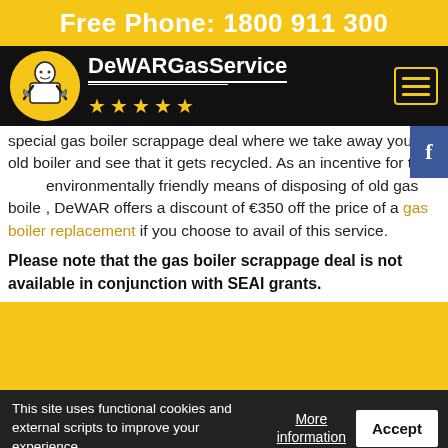Free Phone: 1800 911 300
[Figure (logo): DeWAR Gas Service logo with yellow circle containing a plumber figure, brand name DeWARGasService, and five yellow stars. Black navigation bar with hamburger menu button.]
special gas boiler scrappage deal where we take away your old boiler and see that it gets recycled. As an incentive for the environmentally friendly means of disposing of old gas boilers, DeWAR offers a discount of €350 off the price of a gas boiler replacement if you choose to avail of this service.
Please note that the gas boiler scrappage deal is not available in conjunction with SEAI grants.
This site uses functional cookies and external scripts to improve your experience.